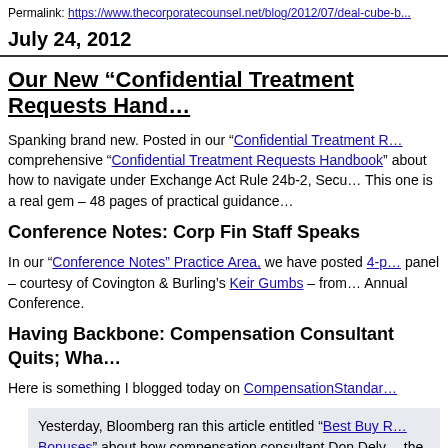Permalink: https://www.thecorporatecounsel.net/blog/2012/07/deal-cube-b...
July 24, 2012
Our New “Confidential Treatment Requests Hand…
Spanking brand new. Posted in our “Confidential Treatment R… comprehensive “Confidential Treatment Requests Handbook” about how to navigate under Exchange Act Rule 24b-2, Secu… This one is a real gem – 48 pages of practical guidance…
Conference Notes: Corp Fin Staff Speaks
In our “Conference Notes” Practice Area, we have posted 4-p… panel – courtesy of Covington & Burling’s Keir Gumbs – from… Annual Conference.
Having Backbone: Compensation Consultant Quits; Wha…
Here is something I blogged today on CompensationStandar…
Yesterday, Bloomberg ran this article entitled “Best Buy R… Bonuses” about how compensation consultant Don Delv… the company awarded more than 100 managers retentio… performance. Don has been a regular speaker at our ann… conference. I have not spoken to Don about this situa…